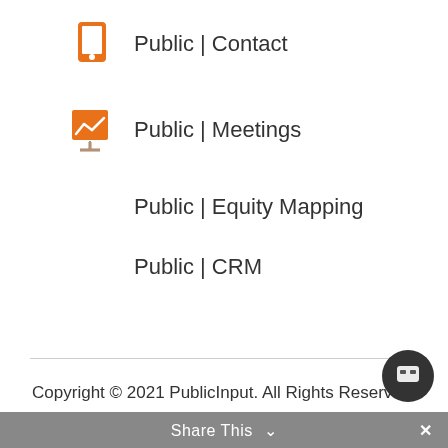Public | Contact
Public | Meetings
Public | Equity Mapping
Public | CRM
Copyright © 2021 PublicInput. All Rights Reserved.
Privacy Policy | Terms and Conditions
Share This